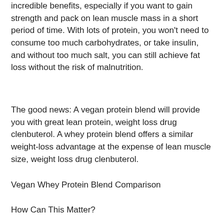incredible benefits, especially if you want to gain strength and pack on lean muscle mass in a short period of time. With lots of protein, you won't need to consume too much carbohydrates, or take insulin, and without too much salt, you can still achieve fat loss without the risk of malnutrition.
The good news: A vegan protein blend will provide you with great lean protein, weight loss drug clenbuterol. A whey protein blend offers a similar weight-loss advantage at the expense of lean muscle size, weight loss drug clenbuterol.
Vegan Whey Protein Blend Comparison
How Can This Matter?